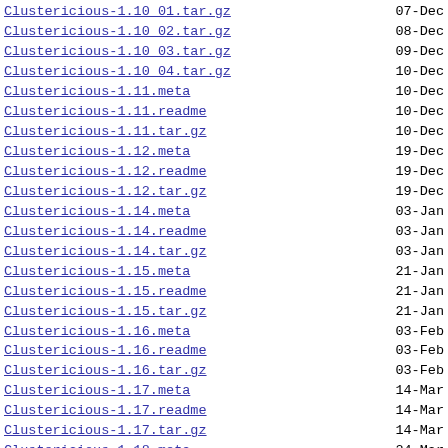Clustericious-1.10_01.tar.gz  07-Dec
Clustericious-1.10_02.tar.gz  08-Dec
Clustericious-1.10_03.tar.gz  09-Dec
Clustericious-1.10_04.tar.gz  10-Dec
Clustericious-1.11.meta       10-Dec
Clustericious-1.11.readme     10-Dec
Clustericious-1.11.tar.gz     10-Dec
Clustericious-1.12.meta       19-Dec
Clustericious-1.12.readme     19-Dec
Clustericious-1.12.tar.gz     19-Dec
Clustericious-1.14.meta       03-Jan
Clustericious-1.14.readme     03-Jan
Clustericious-1.14.tar.gz     03-Jan
Clustericious-1.15.meta       21-Jan
Clustericious-1.15.readme     21-Jan
Clustericious-1.15.tar.gz     21-Jan
Clustericious-1.16.meta       03-Feb
Clustericious-1.16.readme     03-Feb
Clustericious-1.16.tar.gz     03-Feb
Clustericious-1.17.meta       14-Mar
Clustericious-1.17.readme     14-Mar
Clustericious-1.17.tar.gz     14-Mar
Clustericious-1.18.meta       24-Mar
Clustericious-1.18.readme     24-Mar
Clustericious-1.18.tar.gz     24-Mar
Clustericious-1.19.meta       28-Mar
Clustericious-1.19.readme     28-Mar
Clustericious-1.19.tar.gz     28-Mar
Clustericious-1.20.meta       22-Apr
Clustericious-1.20.readme     22-Apr